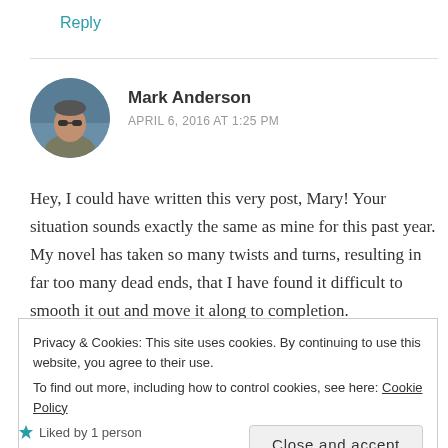Reply
[Figure (photo): Circular avatar photo of Mark Anderson, a man wearing sunglasses and a jacket, with a blue/outdoor background]
Mark Anderson
APRIL 6, 2016 AT 1:25 PM
Hey, I could have written this very post, Mary! Your situation sounds exactly the same as mine for this past year. My novel has taken so many twists and turns, resulting in far too many dead ends, that I have found it difficult to smooth it out and move it along to completion.
Privacy & Cookies: This site uses cookies. By continuing to use this website, you agree to their use.
To find out more, including how to control cookies, see here: Cookie Policy
Close and accept
Liked by 1 person